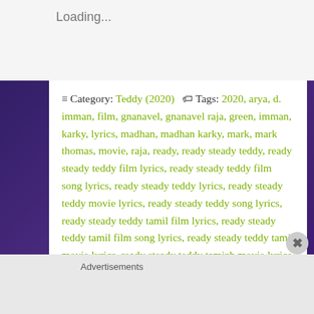Loading...
≡ Category: Teddy (2020)  🏷 Tags: 2020, arya, d. imman, film, gnanavel, gnanavel raja, green, imman, karky, lyrics, madhan, madhan karky, mark, mark thomas, movie, raja, ready, ready steady teddy, ready steady teddy film lyrics, ready steady teddy film song lyrics, ready steady teddy lyrics, ready steady teddy movie lyrics, ready steady teddy song lyrics, ready steady teddy tamil film lyrics, ready steady teddy tamil film song lyrics, ready steady teddy tamil movie lyrics, ready steady teddy tamizh movie lyrics, ready steady teddy teddy, ready steady teddy teddy film lyrics, ready steady teddy teddy film song lyrics, ready steady teddy
Advertisements